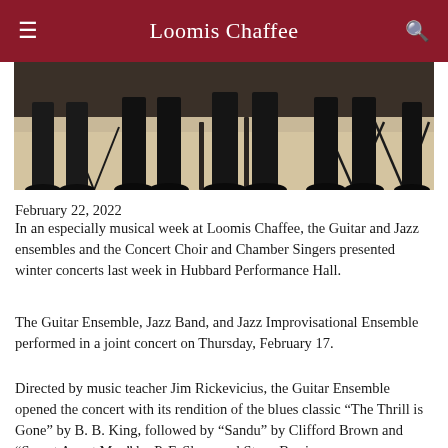Loomis Chaffee
[Figure (photo): Photograph showing the lower legs and feet of musicians seated in a performance setting, wearing black formal attire and dress shoes, with music stands visible.]
February 22, 2022
In an especially musical week at Loomis Chaffee, the Guitar and Jazz ensembles and the Concert Choir and Chamber Singers presented winter concerts last week in Hubbard Performance Hall.
The Guitar Ensemble, Jazz Band, and Jazz Improvisational Ensemble performed in a joint concert on Thursday, February 17.
Directed by music teacher Jim Rickevicius, the Guitar Ensemble opened the concert with its rendition of the blues classic “The Thrill is Gone” by B. B. King, followed by “Sandu” by Clifford Brown and “Secret Agent Man” by P. F. Sloan and Steve Barrie.